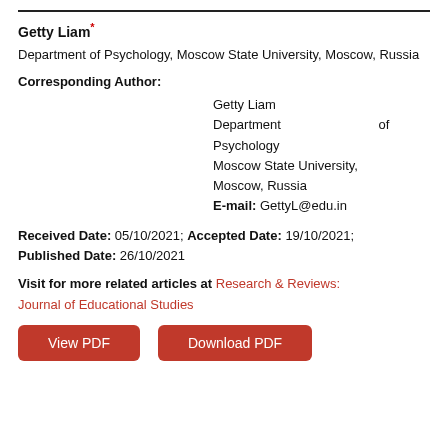Getty Liam*
Department of Psychology, Moscow State University, Moscow, Russia
Corresponding Author:
Getty Liam
Department of
Psychology
Moscow State University,
Moscow, Russia
E-mail: GettyL@edu.in
Received Date: 05/10/2021; Accepted Date: 19/10/2021; Published Date: 26/10/2021
Visit for more related articles at Research & Reviews: Journal of Educational Studies
View PDF
Download PDF